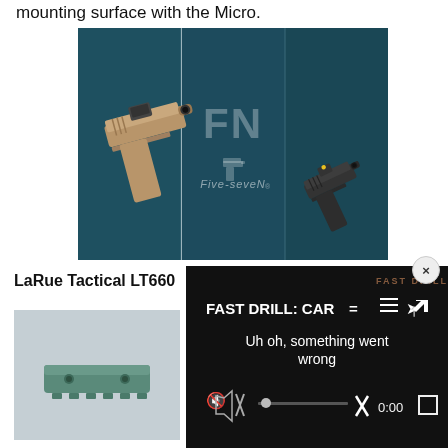mounting surface with the Micro.
[Figure (photo): FN Five-seveN advertisement showing a tan/FDE pistol with red dot sight on the left panel, large FN Five-seveN logo in the center panel, and a dark/black pistol with red dot sight on the right panel, against a dark teal background.]
LaRue Tactical LT660
[Figure (screenshot): Video player showing error message: FAST DRILL: CAR= in top right, title FAST DRILL: CAR= with hamburger menu and share icons, error message 'Uh oh, something went wrong', volume muted icon, progress bar, X button, 0:00 timestamp, fullscreen button.]
[Figure (photo): Product photo of a LaRue Tactical LT660 optic mount, showing a green/teal anodized aluminum mounting plate.]